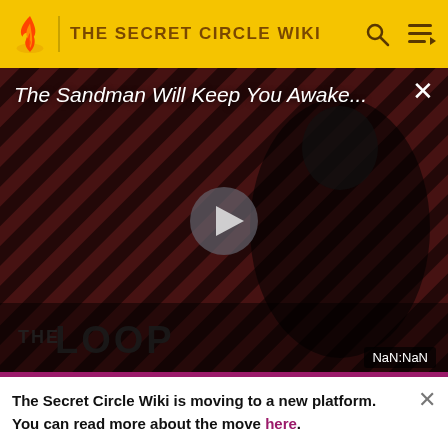THE SECRET CIRCLE WIKI
[Figure (screenshot): Video player showing 'The Sandman Will Keep You Awake...' with striped dark red background, a dark-clothed figure, play button, THE LOOP watermark, and NaN:NaN timestamp]
The Secret Circle Wiki is moving to a new platform. You can read more about the move here.